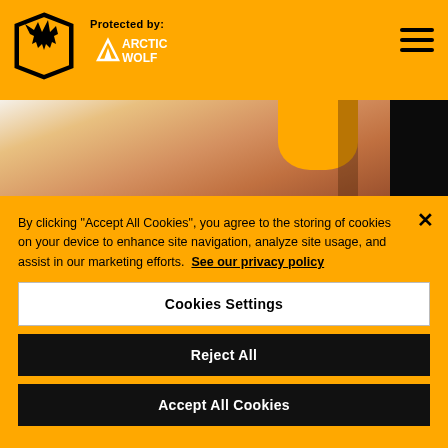[Figure (screenshot): Wolverhampton Wanderers website header with club logo and Arctic Wolf 'Protected by' branding on yellow background, hamburger menu top right]
[Figure (photo): Hero image showing Matheus Nunes in yellow Wolves shirt, close-up of hands, with next-slide arrow on right]
Behind the scenes | Matheus Nunes meets his new teammates before signing his contract!
By clicking "Accept All Cookies", you agree to the storing of cookies on your device to enhance site navigation, analyze site usage, and assist in our marketing efforts. See our privacy policy
Cookies Settings
Reject All
Accept All Cookies